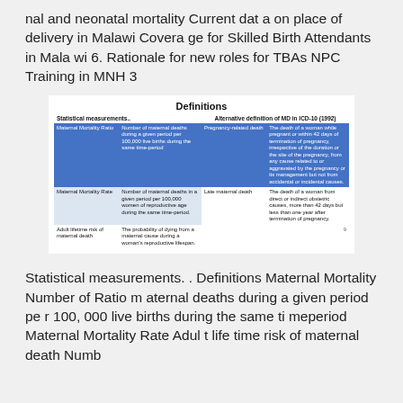nal and neonatal mortality Current data on place of delivery in Malawi Coverage for Skilled Birth Attendants in Malawi 6. Rationale for new roles for TBAs NPC Training in MNH 3
[Figure (table-as-image): Definitions table with two sections: Statistical measurements and Alternative definition of MD in ICD-10 (1992). Left side has rows for Maternal Mortality Ratio, Maternal Mortality Rate, Adult lifetime risk of maternal death. Right side has rows for Pregnancy-related death and Late maternal death.]
Statistical measurements. . Definitions Maternal Mortality Number of Ratio maternal deaths during a given period per 100, 000 live births during the same timeperiod Maternal Mortality Rate Adult life time risk of maternal death Numb